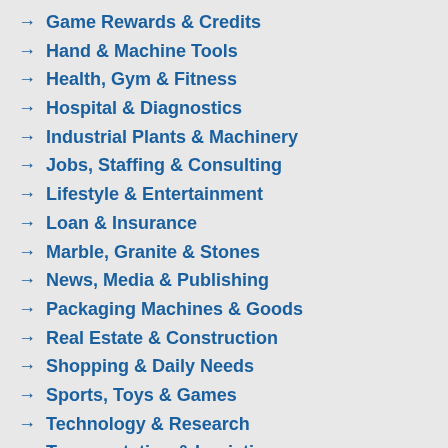Game Rewards & Credits
Hand & Machine Tools
Health, Gym & Fitness
Hospital & Diagnostics
Industrial Plants & Machinery
Jobs, Staffing & Consulting
Lifestyle & Entertainment
Loan & Insurance
Marble, Granite & Stones
News, Media & Publishing
Packaging Machines & Goods
Real Estate & Construction
Shopping & Daily Needs
Sports, Toys & Games
Technology & Research
Transportation & Logistics
Travel, Tourism & Hotels